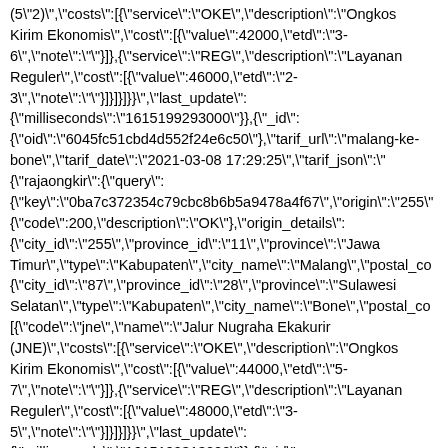(5\"2)\",\"costs\":[{\"service\":\"OKE\",\"description\":\"Ongkos Kirim Ekonomis\",\"cost\":[{\"value\":42000,\"etd\":\"3-6\",\"note\":\"\"}]},{\"service\":\"REG\",\"description\":\"Layanan Reguler\",\"cost\":[{\"value\":46000,\"etd\":\"2-3\",\"note\":\"\"}]}]}]}}","last_update": {"milliseconds":"1615199293000"}},{"_id": {"oid":"6045fc51cbd4d552f24e6c50"},"tarif_url":"malang-ke-bone","tarif_date":"2021-03-08 17:29:25","tarif_json":"{\"rajaongkir\":{\"query\": {\"key\":\"0ba7c372354c79cbc8b6b5a9478a4f67\",\"origin\":\"255\" {\"code\":200,\"description\":\"OK\"},\"origin_details\": {\"city_id\":\"255\",\"province_id\":\"11\",\"province\":\"Jawa Timur\",\"type\":\"Kabupaten\",\"city_name\":\"Malang\",\"postal_co {\"city_id\":\"87\",\"province_id\":\"28\",\"province\":\"Sulawesi Selatan\",\"type\":\"Kabupaten\",\"city_name\":\"Bone\",\"postal_co [{\"code\":\"jne\",\"name\":\"Jalur Nugraha Ekakurir (JNE)\",\"costs\":[{\"service\":\"OKE\",\"description\":\"Ongkos Kirim Ekonomis\",\"cost\":[{\"value\":44000,\"etd\":\"5-7\",\"note\":\"\"}]},{\"service\":\"REG\",\"description\":\"Layanan Reguler\",\"cost\":[{\"value\":48000,\"etd\":\"3-5\",\"note\":\"\"}]}]}]}}","last_update": {"milliseconds":"1615199313000"}},{"_id": {"oid":"6045fc947119fb3d502dd64f"},"tarif_url":"jakarta-utara-ke-jakarta-pusat","tarif_date":"2021-03-08 17:30:32","tarif_json":"{\"rajaongkir\":{\"query\": {\"key\":\"0ba7c372354c79cbc8b6b5a9478a4f67\",\"origin\":\"155\"